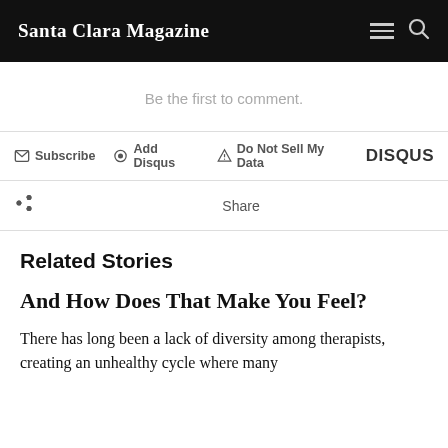Santa Clara Magazine
Be the first to comment.
Subscribe  Add Disqus  Do Not Sell My Data  DISQUS
Share
Related Stories
And How Does That Make You Feel?
There has long been a lack of diversity among therapists, creating an unhealthy cycle where many